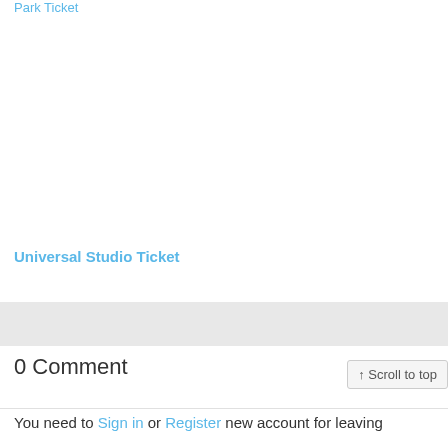Park Ticket
Universal Studio Ticket
0 Comment
↑ Scroll to top
You need to Sign in or Register new account for leaving